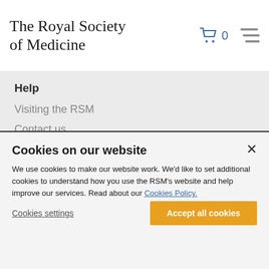The Royal Society of Medicine
Help
Visiting the RSM
Contact us
FAQs
COVID-19 guidance
About us
Cookies on our website
We use cookies to make our website work. We'd like to set additional cookies to understand how you use the RSM's website and help improve our services. Read about our Cookies Policy.
Cookies settings
Accept all cookies